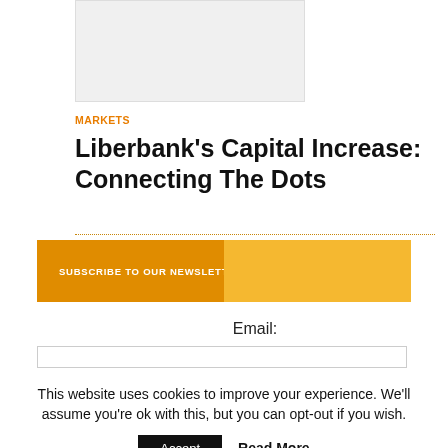[Figure (photo): Placeholder image area, light gray rectangle]
MARKETS
Liberbank's Capital Increase: Connecting The Dots
SUBSCRIBE TO OUR NEWSLETTER
Email:
This website uses cookies to improve your experience. We'll assume you're ok with this, but you can opt-out if you wish.
Accept
Read More